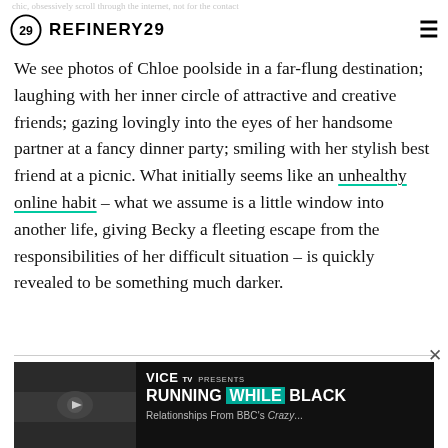chic, obsessively scroll through the internet, not for the contact
[Figure (logo): Refinery29 logo with circled '29' and wordmark REFINERY29, hamburger menu icon on right]
We see photos of Chloe poolside in a far-flung destination; laughing with her inner circle of attractive and creative friends; gazing lovingly into the eyes of her handsome partner at a fancy dinner party; smiling with her stylish best friend at a picnic. What initially seems like an unhealthy online habit – what we assume is a little window into another life, giving Becky a fleeting escape from the responsibilities of her difficult situation – is quickly revealed to be something much darker.
RELATED STORIES
[Figure (screenshot): VICE TV Presents: RUNNING WHILE BLACK video banner with thumbnail showing people in background]